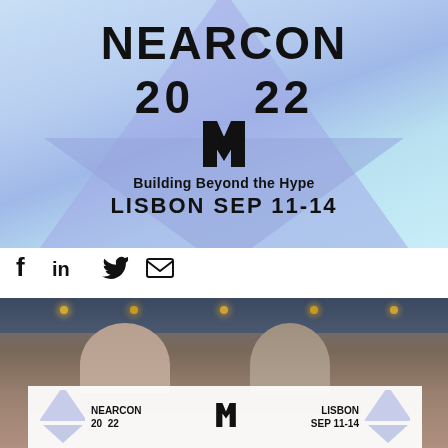[Figure (logo): NEARCON 2022 event logo with blue/purple triangle background, NEAR protocol logo mark, text 'Building Beyond the Hype' and 'LISBON SEP 11-14']
[Figure (illustration): Row of social media icons: Facebook (f), LinkedIn (in), Twitter bird, Email envelope]
[Figure (photo): Photograph of two men in a modern interior space with ceiling lights, overlaid with a smaller NEARCON 2022 branded banner showing 'NEARCON 20 22', NEAR logo, 'LISBON SEP 11-14']